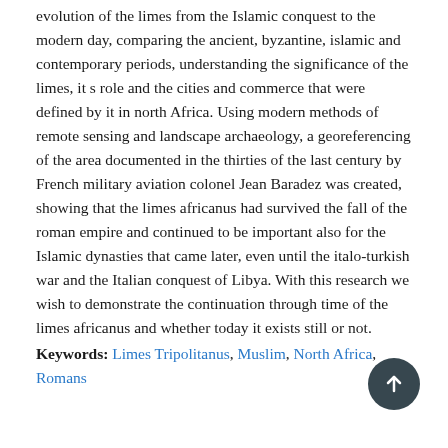evolution of the limes from the Islamic conquest to the modern day, comparing the ancient, byzantine, islamic and contemporary periods, understanding the significance of the limes, it s role and the cities and commerce that were defined by it in north Africa. Using modern methods of remote sensing and landscape archaeology, a georeferencing of the area documented in the thirties of the last century by French military aviation colonel Jean Baradez was created, showing that the limes africanus had survived the fall of the roman empire and continued to be important also for the Islamic dynasties that came later, even until the italo-turkish war and the Italian conquest of Libya. With this research we wish to demonstrate the continuation through time of the limes africanus and whether today it exists still or not.
Keywords: Limes Tripolitanus, Muslim, North Africa, Romans